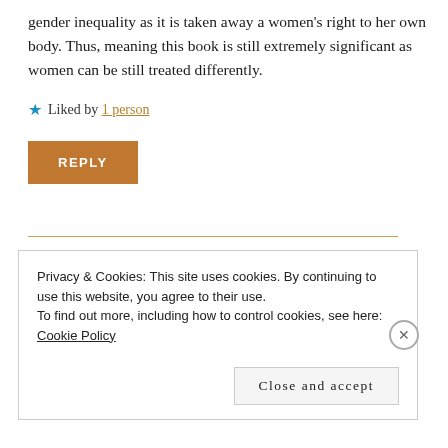as it will and be illegal and supports the idea of gender inequality as it is taken away a women's right to her own body. Thus, meaning this book is still extremely significant as women can be still treated differently.
★ Liked by 1 person
REPLY
ORLA NEVILLE
February 12, 2021 at 1:13 PM
Privacy & Cookies: This site uses cookies. By continuing to use this website, you agree to their use.
To find out more, including how to control cookies, see here: Cookie Policy
Close and accept